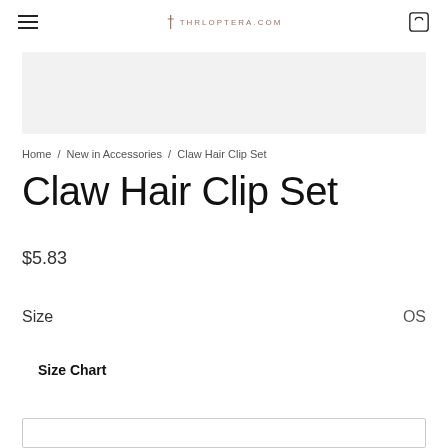THRLOPTERA.COM
[Figure (other): Gray banner/advertisement placeholder area]
Home / New in Accessories / Claw Hair Clip Set
Claw Hair Clip Set
$5.83
Size   OS
Size Chart